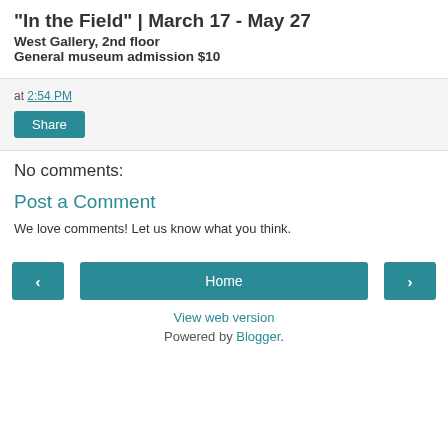"In the Field" | March 17 - May 27
West Gallery, 2nd floor
General museum admission $10
at 2:54 PM
Share
No comments:
Post a Comment
We love comments! Let us know what you think.
< Home >
View web version
Powered by Blogger.